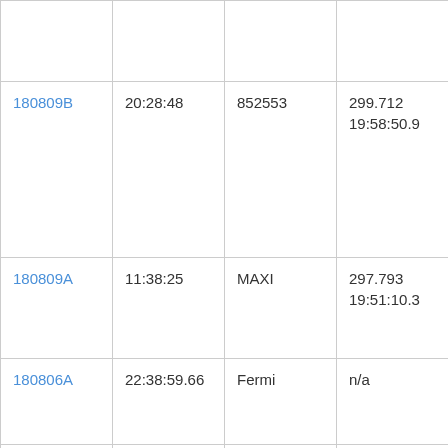|  |  |  |  |
| 180809B | 20:28:48 | 852553 | 299.712
19:58:50.9 |
| 180809A | 11:38:25 | MAXI | 297.793
19:51:10.3 |
| 180806A | 22:38:59.66 | Fermi | n/a |
| 180805B | 13:02:36 | 851855 | 25.877
01:43:30.5 |